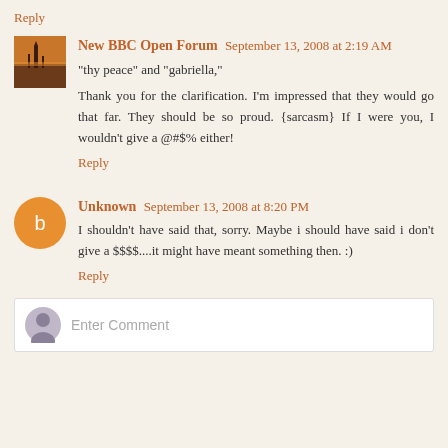Reply
New BBC Open Forum  September 13, 2008 at 2:19 AM
"thy peace" and "gabriella,"
Thank you for the clarification. I'm impressed that they would go that far. They should be so proud. {sarcasm} If I were you, I wouldn't give a @#$% either!
Reply
Unknown  September 13, 2008 at 8:20 PM
I shouldn't have said that, sorry. Maybe i should have said i don't give a $$$$....it might have meant something then. :)
Reply
Enter Comment